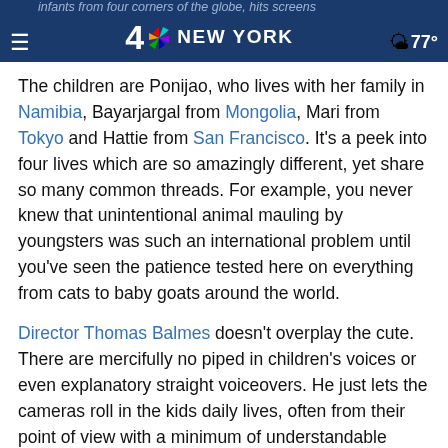infants from four corners of the globe, hits screens — 4 NBC NEW YORK  77°
The children are Ponijao, who lives with her family in Namibia, Bayarjargal from Mongolia, Mari from Tokyo and Hattie from San Francisco. It's a peek into four lives which are so amazingly different, yet share so many common threads. For example, you never knew that unintentional animal mauling by youngsters was such an international problem until you've seen the patience tested here on everything from cats to baby goats around the world.
Director Thomas Balmes doesn't overplay the cute. There are mercifully no piped in children's voices or even explanatory straight voiceovers. He just lets the cameras roll in the kids daily lives, often from their point of view with a minimum of understandable dialogue from the adults in their lives.